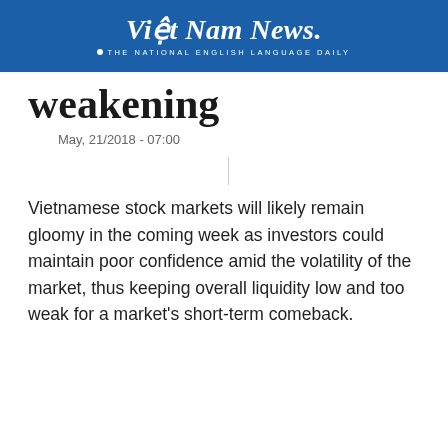Việt Nam News. THE NATIONAL ENGLISH LANGUAGE DAILY
weakening
May, 21/2018 - 07:00
Vietnamese stock markets will likely remain gloomy in the coming week as investors could maintain poor confidence amid the volatility of the market, thus keeping overall liquidity low and too weak for a market's short-term comeback.